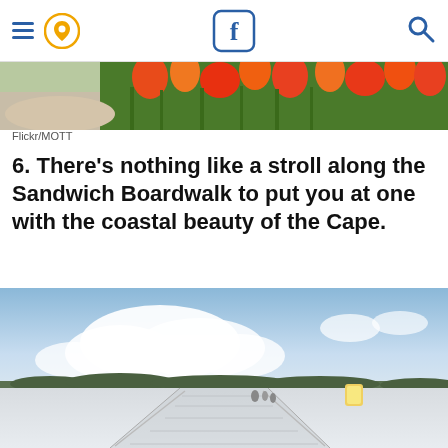Navigation header with hamburger menu, location pin icon, Facebook icon, and search icon
[Figure (photo): Banner photo of orange and red flowers/tulips along a sandy path]
Flickr/MOTT
6. There's nothing like a stroll along the Sandwich Boardwalk to put you at one with the coastal beauty of the Cape.
[Figure (photo): Wide panoramic photo of Sandwich Boardwalk extending across a sandy coastal flat with blue sky and white clouds above, trees on the distant shore, and a few people walking on the boardwalk]